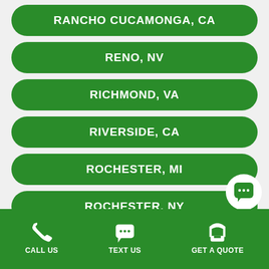RANCHO CUCAMONGA, CA
RENO, NV
RICHMOND, VA
RIVERSIDE, CA
ROCHESTER, MI
ROCHESTER, NY
ROCKFORD, IL
CALL US  TEXT US  GET A QUOTE